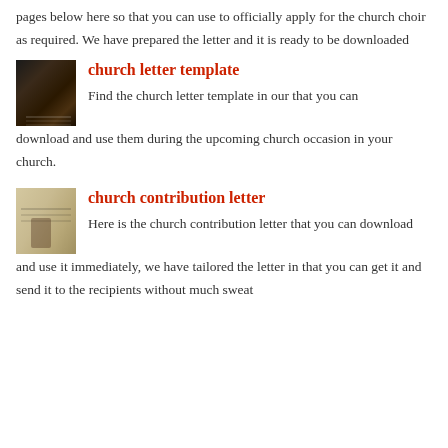pages below here so that you can use to officially apply for the church choir as required. We have prepared the letter and it is ready to be downloaded
church letter template
[Figure (photo): A photo of an open Bible or book in dim lighting]
Find the church letter template in our that you can download and use them during the upcoming church occasion in your church.
church contribution letter
[Figure (photo): A photo of someone writing on paper with a pen]
Here is the church contribution letter that you can download and use it immediately, we have tailored the letter in that you can get it and send it to the recipients without much sweat